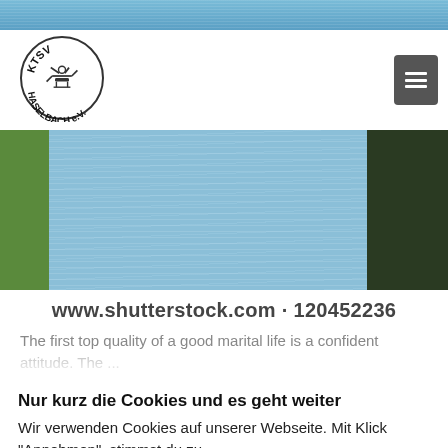[Figure (photo): Top blue/teal image strip showing part of a sports or nature background]
[Figure (logo): KTSV Haselbach e.V. circular logo with a gymnast figure in the center]
[Figure (photo): Hero image showing blue ribbed/textured cylindrical shapes (mats or foam rollers) with green background on left and dark green on right]
www.shutterstock.com · 120452236
The first top quality of a good marital life is a confident attitude. The...
Nur kurz die Cookies und es geht weiter
Wir verwenden Cookies auf unserer Webseite. Mit Klick "Annehmen", stimmst du zu.
Cookie-Einstellungen
Annehmen